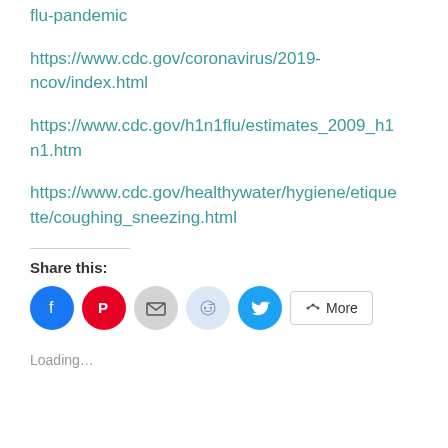flu-pandemic
https://www.cdc.gov/coronavirus/2019-ncov/index.html
https://www.cdc.gov/h1n1flu/estimates_2009_h1n1.htm
https://www.cdc.gov/healthywater/hygiene/etiquette/coughing_sneezing.html
Share this:
[Figure (infographic): Social share buttons: Facebook (blue circle), Pinterest (red circle), Email (gray circle), Reddit (light blue circle), Twitter (teal circle), and a More button with share icon]
Loading...